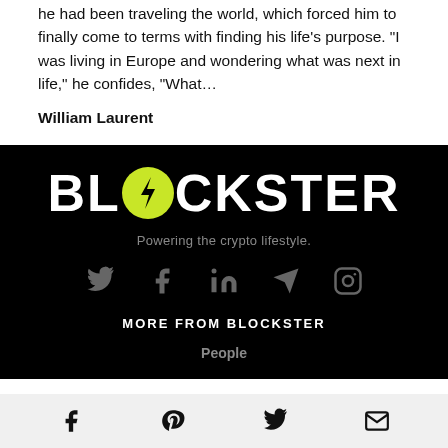he had been traveling the world, which forced him to finally come to terms with finding his life’s purpose. “I was living in Europe and wondering what was next in life,” he confides, “What…
William Laurent
[Figure (logo): BLOCKSTER logo on black background with green circle containing a lightning bolt replacing the letter O]
Powering the crypto lifestyle.
[Figure (infographic): Social media icons: Twitter, Facebook, LinkedIn, Telegram, Instagram in gray on black background]
MORE FROM BLOCKSTER
People
[Figure (infographic): Bottom bar with social sharing icons: Facebook, Pinterest, Twitter, Email on light gray background]